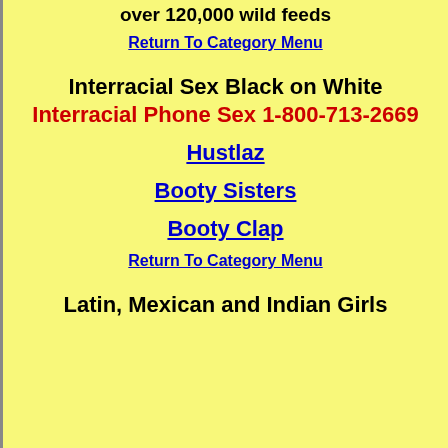over 120,000 wild feeds
Return To Category Menu
Interracial Sex Black on White
Interracial Phone Sex 1-800-713-2669
Hustlaz
Booty Sisters
Booty Clap
Return To Category Menu
Latin, Mexican and Indian Girls